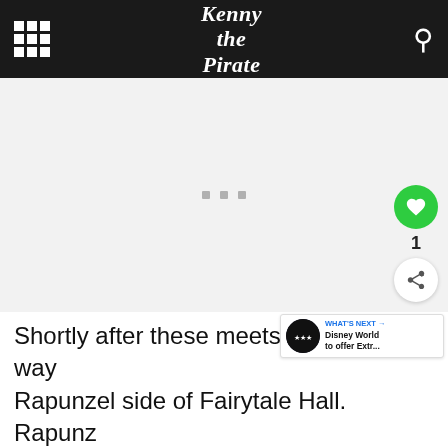Kenny the Pirate
[Figure (other): Advertisement placeholder area with three small gray dots centered]
Shortly after these meets, I made my way over to the Rapunzel side of Fairytale Hall.  Rapunzel and Rider is always a fun interaction.  They aren't stuffy, so they...
[Figure (other): Lidl Groceries Are Low-Priced advertisement banner]
the...